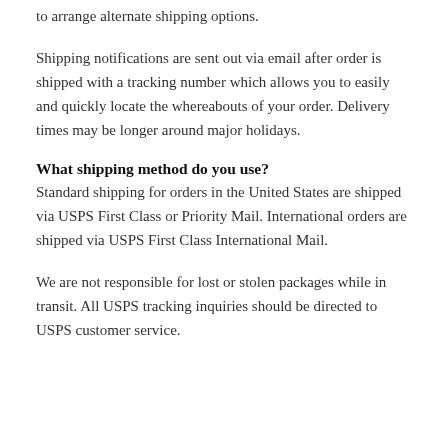to arrange alternate shipping options.
Shipping notifications are sent out via email after order is shipped with a tracking number which allows you to easily and quickly locate the whereabouts of your order. Delivery times may be longer around major holidays.
What shipping method do you use?
Standard shipping for orders in the United States are shipped via USPS First Class or Priority Mail. International orders are shipped via USPS First Class International Mail.
We are not responsible for lost or stolen packages while in transit. All USPS tracking inquiries should be directed to USPS customer service.